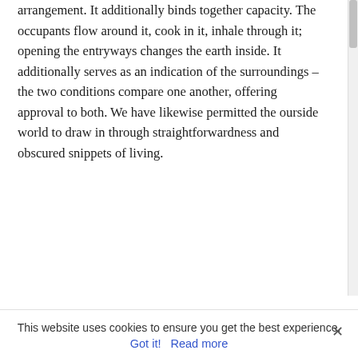arrangement. It additionally binds together capacity. The occupants flow around it, cook in it, inhale through it; opening the entryways changes the earth inside. It additionally serves as an indication of the surroundings – the two conditions compare one another, offering approval to both. We have likewise permitted the ourside world to draw in through straightforwardness and obscured snippets of living.
This website uses cookies to ensure you get the best experience.
Got it!   Read more